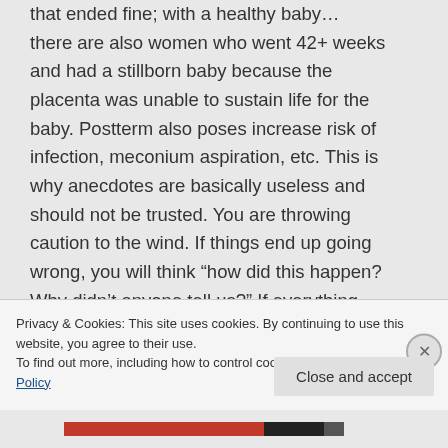that ended fine; with a healthy baby... there are also women who went 42+ weeks and had a stillborn baby because the placenta was unable to sustain life for the baby. Postterm also poses increase risk of infection, meconium aspiration, etc. This is why anecdotes are basically useless and should not be trusted. You are throwing caution to the wind. If things end up going wrong, you will think “how did this happen? Why didn’t anyone tell us?” If everything
Privacy & Cookies: This site uses cookies. By continuing to use this website, you agree to their use. To find out more, including how to control cookies, see here: Cookie Policy